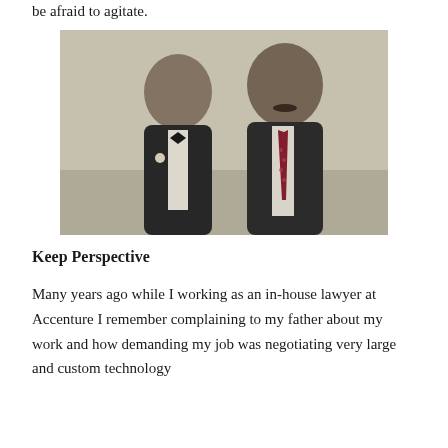be afraid to agitate.
[Figure (photo): Black and white photograph of two men posing together. The man on the left is wearing a tuxedo with a bow tie and boutonniere. The man on the right is wearing a suit with a patterned tie. Both are smiling at the camera.]
Keep Perspective
Many years ago while I working as an in-house lawyer at Accenture I remember complaining to my father about my work and how demanding my job was negotiating very large and custom technology